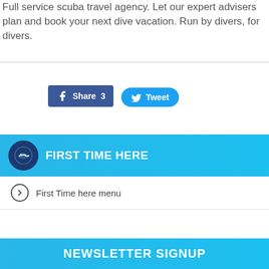Full service scuba travel agency. Let our expert advisers plan and book your next dive vacation. Run by divers, for divers.
[Figure (screenshot): Facebook Share button with count 3 and Twitter Tweet button]
FIRST TIME HERE
First Time here menu
NEWSLETTER SIGNUP